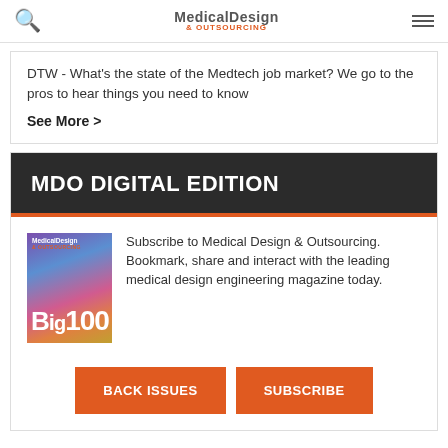Medical Design & Outsourcing
DTW - What’s the state of the Medtech job market? We go to the pros to hear things you need to know
See More >
MDO DIGITAL EDITION
[Figure (illustration): Medical Design Big100 magazine cover with colorful abstract background]
Subscribe to Medical Design & Outsourcing. Bookmark, share and interact with the leading medical design engineering magazine today.
BACK ISSUES
SUBSCRIBE